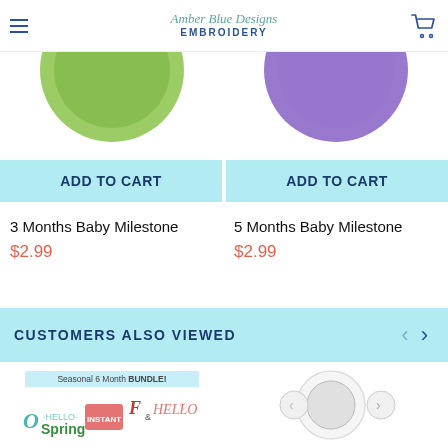Amber Blue Designs Embroidery
[Figure (screenshot): Partial product image - green circular embroidery hoop (left) and purple circular embroidery hoop (right), cut off at top]
ADD TO CART
ADD TO CART
3 Months Baby Milestone
$2.99
5 Months Baby Milestone
$2.99
CUSTOMERS ALSO VIEWED
[Figure (screenshot): Seasonal 6 Month BUNDLE product image with colorful embroidery designs text]
[Figure (illustration): Circular embroidery product with navigation arrows on right side]